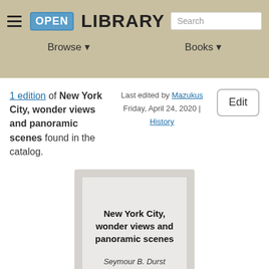OPEN LIBRARY | Browse | Books | Search
1 edition of New York City, wonder views and panoramic scenes found in the catalog.
Last edited by Mazukus
Friday, April 24, 2020 | History
Edit
[Figure (illustration): Book cover placeholder card with title 'New York City, wonder views and panoramic scenes' and author 'Seymour B. Durst' on a grey background]
New York City, wonder views and panoramic scenes
Seymour B. Durst